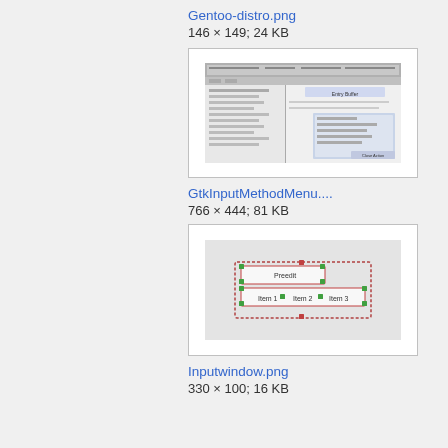Gentoo-distro.png
146 × 149; 24 KB
[Figure (screenshot): Screenshot of a software configuration or package manager window, resembling a Gentoo Linux distro interface]
GtkInputMethodMenu....
766 × 444; 81 KB
[Figure (screenshot): Screenshot showing a UI element with 'Preedit', 'Item 1', 'Item 2', 'Item 3' in a dashed-border input window]
Inputwindow.png
330 × 100; 16 KB